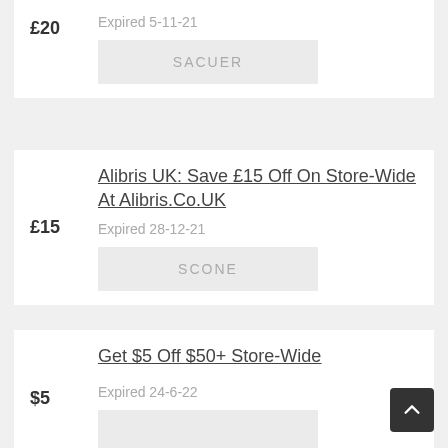£20
Expired 5-11-21
SACUER
Alibris UK: Save £15 Off On Store-Wide At Alibris.Co.UK
£15
Expired 28-12-21
SCONE
Get $5 Off $50+ Store-Wide
$5
Expired 24-6-22